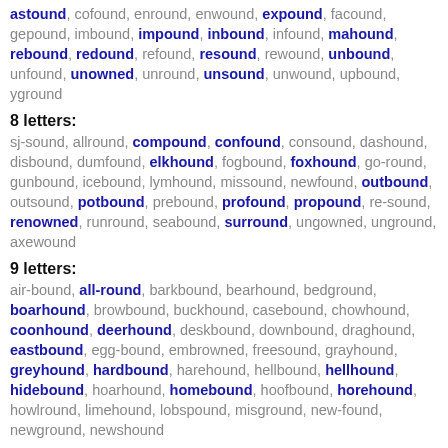astound, cofound, enround, enwound, expound, facound, gepound, imbound, impound, inbound, infound, mahound, rebound, redound, refound, resound, rewound, unbound, unfound, unowned, unround, unsound, unwound, upbound, yground
8 letters:
sj-sound, allround, compound, confound, consound, dashound, disbound, dumfound, elkhound, fogbound, foxhound, go-round, gunbound, icebound, lymhound, missound, newfound, outbound, outsound, potbound, prebound, profound, propound, re-sound, renowned, runround, seabound, surround, ungowned, unground, axewound
9 letters:
air-bound, all-round, barkbound, bearhound, bedground, boarhound, browbound, buckhound, casebound, chowhound, coonhound, deerhound, deskbound, downbound, draghound, eastbound, egg-bound, embrowned, freesound, grayhound, greyhound, hardbound, harehound, hellbound, hellhound, hidebound, hoarhound, homebound, hoofbound, horehound, howlround, limehound, lobspound, misground, new-found, newground, newshound